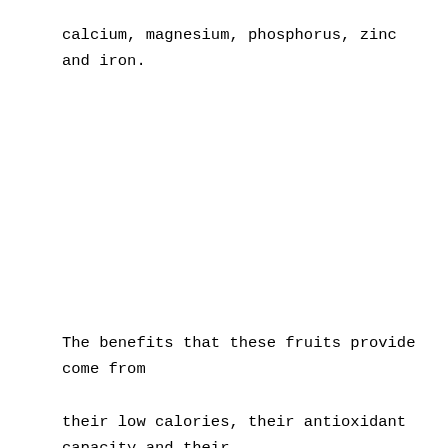calcium, magnesium, phosphorus, zinc and iron.
The benefits that these fruits provide come from their low calories, their antioxidant capacity and their low cholesterol. A good source of dietary fiber, they